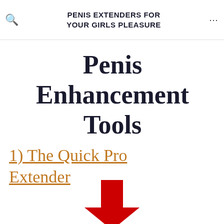PENIS EXTENDERS FOR YOUR GIRLS PLEASURE
Penis Enhancement Tools
1) The Quick Pro Extender
[Figure (illustration): A large red downward-pointing arrow]